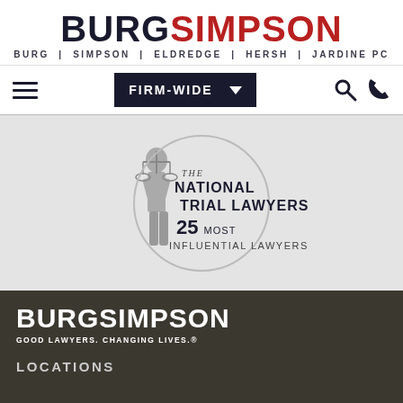[Figure (logo): Burg Simpson law firm logo with BURGSIMPSON in large text (BURG dark, SIMPSON red) and subtitle BURG | SIMPSON | ELDREDGE | HERSH | JARDINE PC]
[Figure (screenshot): Navigation bar with hamburger menu, FIRM-WIDE dropdown button, search icon, and phone icon]
[Figure (logo): The National Trial Lawyers 25 Most Influential Lawyers award badge with Lady Justice figure on grey background]
[Figure (logo): Footer dark brown section with BURGSIMPSON logo in white, tagline GOOD LAWYERS. CHANGING LIVES. and LOCATIONS heading]
GOOD LAWYERS. CHANGING LIVES.®
LOCATIONS